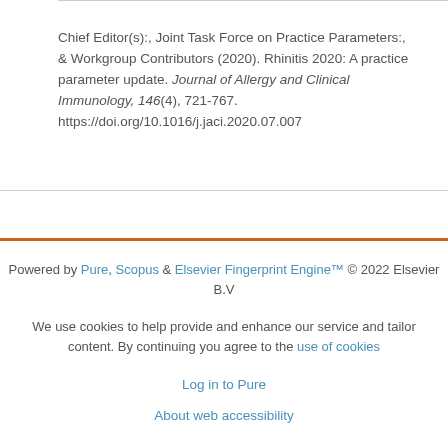Chief Editor(s):, Joint Task Force on Practice Parameters:, & Workgroup Contributors (2020). Rhinitis 2020: A practice parameter update. Journal of Allergy and Clinical Immunology, 146(4), 721-767. https://doi.org/10.1016/j.jaci.2020.07.007
Powered by Pure, Scopus & Elsevier Fingerprint Engine™ © 2022 Elsevier B.V
We use cookies to help provide and enhance our service and tailor content. By continuing you agree to the use of cookies
Log in to Pure
About web accessibility